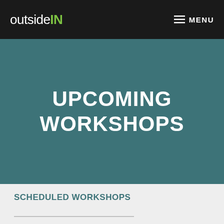outsideIN  MENU
UPCOMING WORKSHOPS
SCHEDULED WORKSHOPS